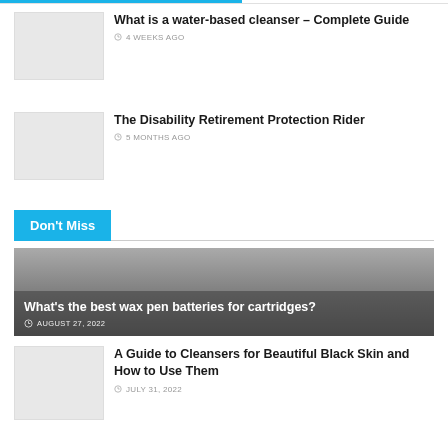What is a water-based cleanser – Complete Guide | 4 WEEKS AGO
The Disability Retirement Protection Rider | 5 MONTHS AGO
Don't Miss
[Figure (photo): Featured article banner with gradient background: What's the best wax pen batteries for cartridges?]
AUGUST 27, 2022
A Guide to Cleansers for Beautiful Black Skin and How to Use Them | JULY 31, 2022